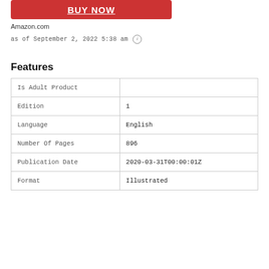[Figure (other): Red BUY NOW button with white underlined bold text]
Amazon.com
as of September 2, 2022 5:38 am ⓘ
Features
|  |  |
| --- | --- |
| Is Adult Product |  |
| Edition | 1 |
| Language | English |
| Number Of Pages | 896 |
| Publication Date | 2020-03-31T00:00:01Z |
| Format | Illustrated |